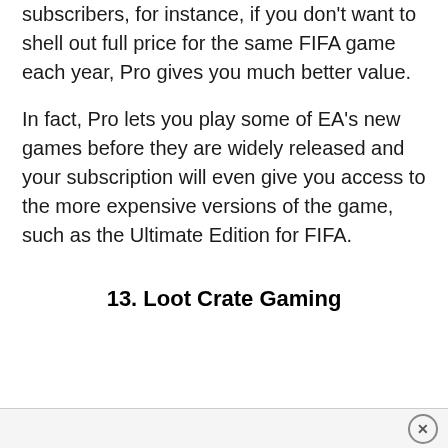subscribers, for instance, if you don't want to shell out full price for the same FIFA game each year, Pro gives you much better value.
In fact, Pro lets you play some of EA's new games before they are widely released and your subscription will even give you access to the more expensive versions of the game, such as the Ultimate Edition for FIFA.
13. Loot Crate Gaming
×